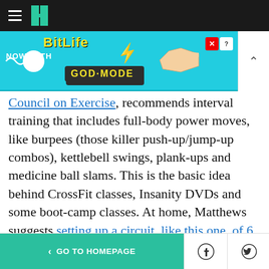HuffPost navigation bar with hamburger menu and logo
[Figure (other): BitLife advertisement banner: 'NOW WITH GOD MODE' on a cyan background with pointing hand graphic]
Council on Exercise, recommends interval training that includes full-body power moves, like burpees (those killer push-up/jump-up combos), kettlebell swings, plank-ups and medicine ball slams. This is the basic idea behind CrossFit classes, Insanity DVDs and some boot-camp classes. At home, Matthews suggests setting up a circuit, like this one, of 6 to 8 exercises that challenge the entire body. Perform each move for 30 seconds, followed by 30 seconds of active recovery (like jogging in place). Once you've
< GO TO HOMEPAGE  [Facebook] [Twitter] [X]